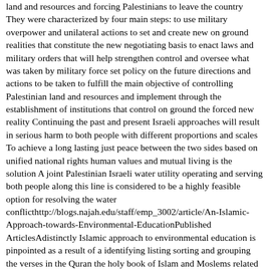land and resources and forcing Palestinians to leave the country They were characterized by four main steps: to use military overpower and unilateral actions to set and create new on ground realities that constitute the new negotiating basis to enact laws and military orders that will help strengthen control and oversee what was taken by military force set policy on the future directions and actions to be taken to fulfill the main objective of controlling Palestinian land and resources and implement through the establishment of institutions that control on ground the forced new reality Continuing the past and present Israeli approaches will result in serious harm to both people with different proportions and scales To achieve a long lasting just peace between the two sides based on unified national rights human values and mutual living is the solution A joint Palestinian Israeli water utility operating and serving both people along this line is considered to be a highly feasible option for resolving the water conflicthttp://blogs.najah.edu/staff/emp_3002/article/An-Islamic-Approach-towards-Environmental-EducationPublished ArticlesAdistinctly Islamic approach to environmental education is pinpointed as a result of a identifying listing sorting and grouping the verses in the Quran the holy book of Islam and Moslems related to environmental education such as learning exercising and mind and knowledge development and b finding connections and relationships between groups according to mutual meanings The approach is formulated in a tripod-type structure Allah Subhanahu WaTaala humans the environment and the belief of Amanah